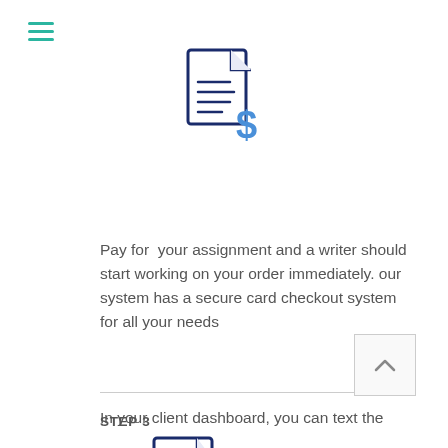[Figure (illustration): Document with dollar sign icon — payment/checkout icon in dark navy and blue]
Pay for your assignment and a writer should start working on your order immediately. our system has a secure card checkout system for all your needs
STEP 3
[Figure (illustration): Document with magnifying glass icon in dark navy and blue]
In your client dashboard, you can text the